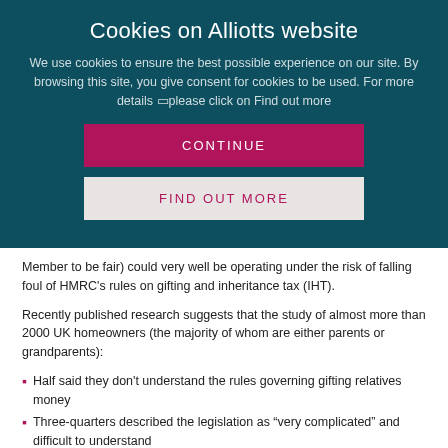Cookies on Alliotts website
We use cookies to ensure the best possible experience on our site. By browsing this site, you give consent for cookies to be used. For more details —please click on Find out more
CONTINUE
FIND OUT MORE
Member to be fair) could very well be operating under the risk of falling foul of HMRC’s rules on gifting and inheritance tax (IHT).
Recently published research suggests that the study of almost more than 2000 UK homeowners (the majority of whom are either parents or grandparents):
Half said they don’t understand the rules governing gifting relatives money
Three-quarters described the legislation as “very complicated” and difficult to understand
Almost 40% said they didn’t know that they would be liable to pay inheritance tax on monetary gifts they’ve made to family members